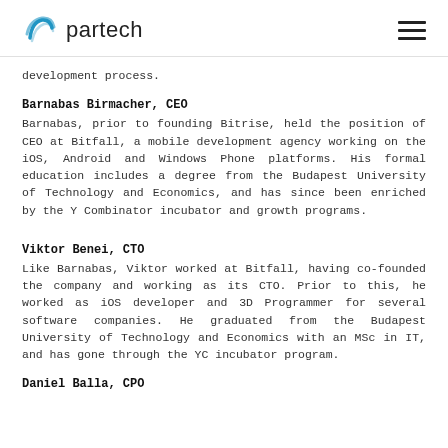partech
development process.
Barnabas Birmacher, CEO
Barnabas, prior to founding Bitrise, held the position of CEO at Bitfall, a mobile development agency working on the iOS, Android and Windows Phone platforms. His formal education includes a degree from the Budapest University of Technology and Economics, and has since been enriched by the Y Combinator incubator and growth programs.
Viktor Benei, CTO
Like Barnabas, Viktor worked at Bitfall, having co-founded the company and working as its CTO. Prior to this, he worked as iOS developer and 3D Programmer for several software companies. He graduated from the Budapest University of Technology and Economics with an MSc in IT, and has gone through the YC incubator program.
Daniel Balla, CPO